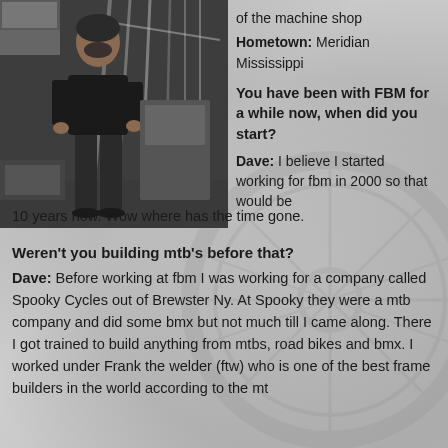[Figure (photo): A man standing in what appears to be a machine shop or workshop, surrounded by bicycle frames and equipment. He is wearing dark clothing and standing among metal tubing/frames.]
of the machine shop
Hometown: Meridian Mississippi
You have been with FBM for a while now, when did you start?
Dave: I believe I started working for fbm in 2000 so that would be 10 years now. Wow where has the time gone.
Weren't you building mtb's before that?
Dave: Before working at fbm I was working for a company called Spooky Cycles out of Brewster Ny. At Spooky they were a mtb company and did some bmx but not much till I came along. There I got trained to build anything from mtbs, road bikes and bmx. I worked under Frank the welder (ftw) who is one of the best frame builders in the world according to the mt